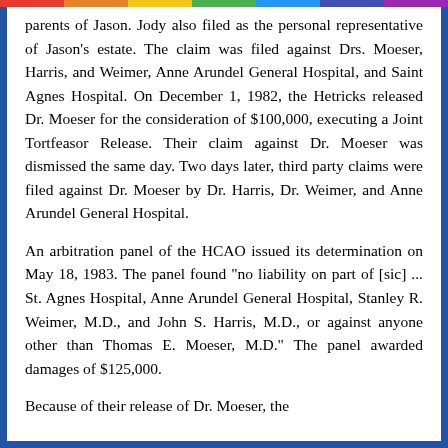parents of Jason. Jody also filed as the personal representative of Jason's estate. The claim was filed against Drs. Moeser, Harris, and Weimer, Anne Arundel General Hospital, and Saint Agnes Hospital. On December 1, 1982, the Hetricks released Dr. Moeser for the consideration of $100,000, executing a Joint Tortfeasor Release. Their claim against Dr. Moeser was dismissed the same day. Two days later, third party claims were filed against Dr. Moeser by Dr. Harris, Dr. Weimer, and Anne Arundel General Hospital.
An arbitration panel of the HCAO issued its determination on May 18, 1983. The panel found "no liability on part of [sic] ... St. Agnes Hospital, Anne Arundel General Hospital, Stanley R. Weimer, M.D., and John S. Harris, M.D., or against anyone other than Thomas E. Moeser, M.D." The panel awarded damages of $125,000.
Because of their release of Dr. Moeser, the